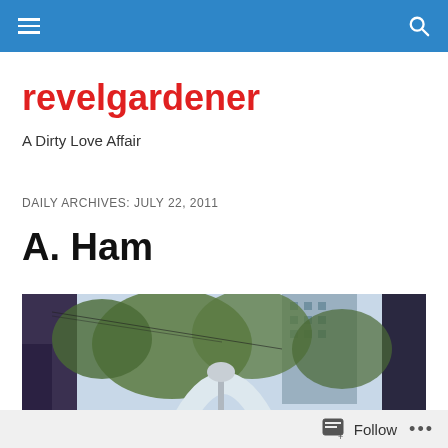revelgardener — navigation bar with menu and search icons
revelgardener
A Dirty Love Affair
DAILY ARCHIVES: JULY 22, 2011
A. Ham
[Figure (photo): Outdoor urban photograph looking upward at trees and a tall building, with a lamp post in the foreground and an arched structure visible. Bluish-tinted image.]
Follow ...